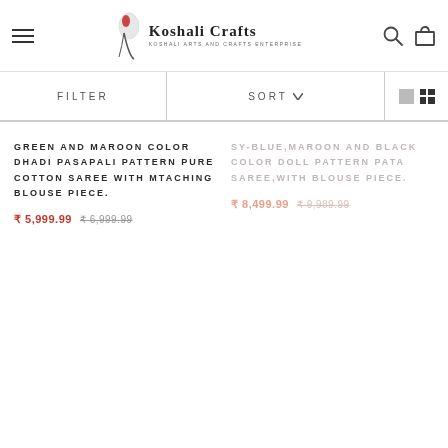Koshali Crafts — Koshali Arts and Crafts Enterprise
FILTER   SORT
GREEN AND MAROON COLOR DHADI PASAPALI PATTERN PURE COTTON SAREE WITH MTACHING BLOUSE PIECE.
₹ 5,999.99  ₹ 6,999.99
SY-BLUE,MAROON AND BLACK COLOR DOLL PATTERN PATA SAREE,WITH BLOUSE PIECE.
₹ 8,499.99  ₹ 9,989.99